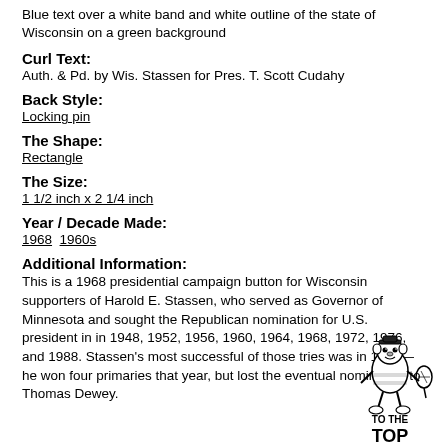Blue text over a white band and white outline of the state of Wisconsin on a green background
Curl Text:
Auth. & Pd. by Wis. Stassen for Pres. T. Scott Cudahy
Back Style:
Locking pin
The Shape:
Rectangle
The Size:
1 1/2 inch x 2 1/4 inch
Year / Decade Made:
1968  1960s
Additional Information:
This is a 1968 presidential campaign button for Wisconsin supporters of Harold E. Stassen, who served as Governor of Minnesota and sought the Republican nomination for U.S. president in in 1948, 1952, 1956, 1960, 1964, 1968, 1972, 1976, and 1988. Stassen's most successful of those tries was in 1948—he won four primaries that year, but lost the eventual nomination to Thomas Dewey.
[Figure (illustration): Cartoon mascot bee or similar character holding a racket, with text 'TO THE TOP' below it]